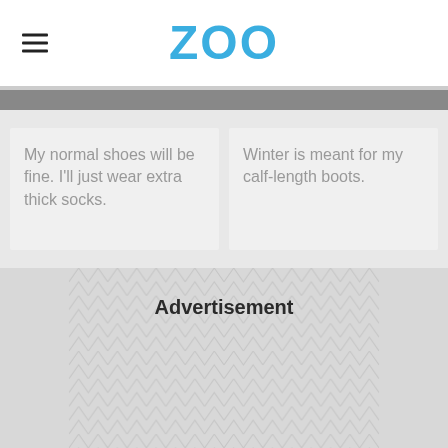ZOO
My normal shoes will be fine. I'll just wear extra thick socks.
Winter is meant for my calf-length boots.
Advertisement